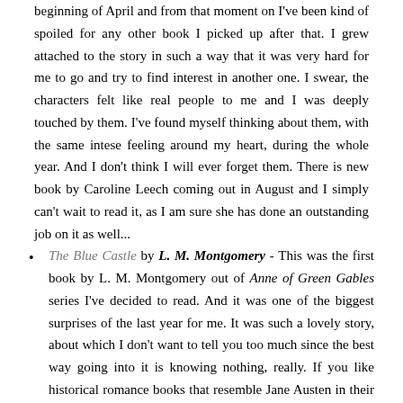beginning of April and from that moment on I've been kind of spoiled for any other book I picked up after that. I grew attached to the story in such a way that it was very hard for me to go and try to find interest in another one. I swear, the characters felt like real people to me and I was deeply touched by them. I've found myself thinking about them, with the same intese feeling around my heart, during the whole year. And I don't think I will ever forget them. There is new book by Caroline Leech coming out in August and I simply can't wait to read it, as I am sure she has done an outstanding job on it as well...
The Blue Castle by L. M. Montgomery - This was the first book by L. M. Montgomery out of Anne of Green Gables series I've decided to read. And it was one of the biggest surprises of the last year for me. It was such a lovely story, about which I don't want to tell you too much since the best way going into it is knowing nothing, really. If you like historical romance books that resemble Jane Austen in their wit and beauty, you can't possible miss this one. I loved